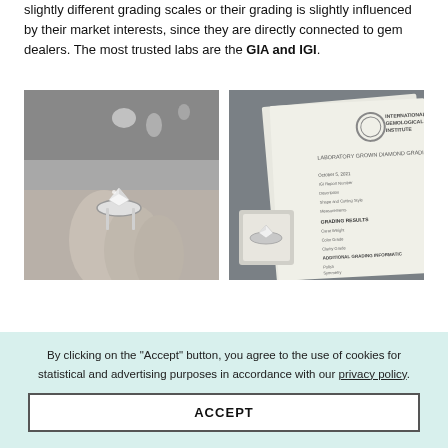slightly different grading scales or their grading is slightly influenced by their market interests, since they are directly connected to gem dealers. The most trusted labs are the GIA and IGI.
[Figure (photo): Black and white photo of a hand holding a diamond solitaire ring, with other jewelry pieces on a surface in the background.]
[Figure (photo): Black and white photo of an IGI (International Gemological Institute) laboratory grown diamond grading report document with a diamond ring in a box.]
By clicking on the "Accept" button, you agree to the use of cookies for statistical and advertising purposes in accordance with our privacy policy.
ACCEPT